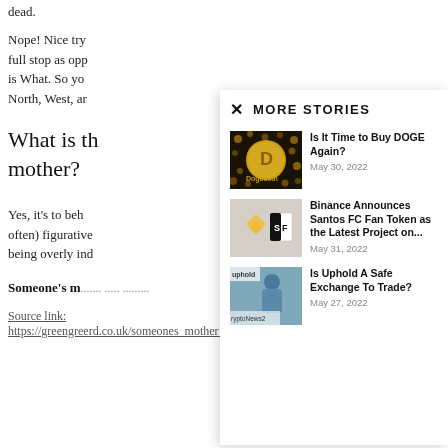dead.
Nope! Nice try full stop as opp is What. So yo North, West, ar
What is th mother?
Yes, it's to beh often) figurative being overly ind
Someone's m... ... ....  .....
Source link: https://greengreerd.co.uk/someones_mother_has
[Figure (screenshot): A modal popup overlay titled MORE STORIES with a close (x) button, showing three article cards: 1) 'Is It Time to Buy DOGE Again?' with Dogecoin image, dated May 30, 2022. 2) 'Binance Announces Santos FC Fan Token as the Latest Project on...' with Binance/Santos FC image, dated May 31, 2022. 3) 'Is Uphold A Safe Exchange To Trade?' with Uphold image, dated May 27, 2022.]